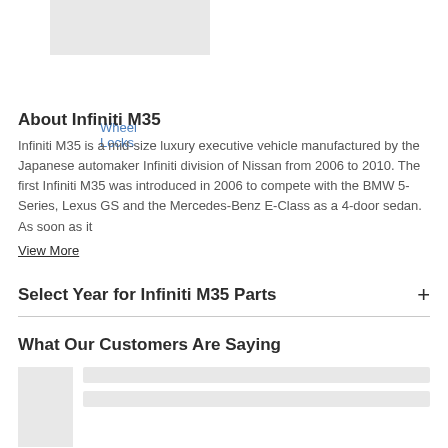[Figure (other): Gray placeholder image box for a product (Wheel Locks)]
Wheel Locks
About Infiniti M35
Infiniti M35 is a mid-size luxury executive vehicle manufactured by the Japanese automaker Infiniti division of Nissan from 2006 to 2010. The first Infiniti M35 was introduced in 2006 to compete with the BMW 5-Series, Lexus GS and the Mercedes-Benz E-Class as a 4-door sedan. As soon as it
View More
Select Year for Infiniti M35 Parts
What Our Customers Are Saying
[Figure (other): Customer review placeholder with avatar box and two gray text line bars]